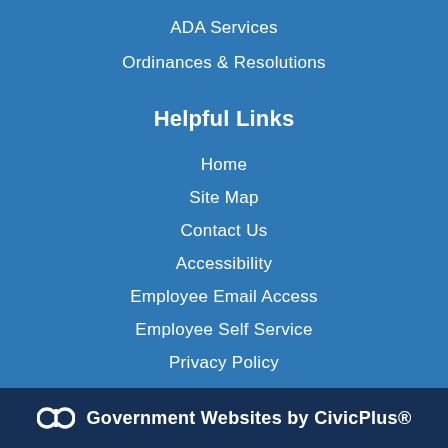ADA Services
Ordinances & Resolutions
Helpful Links
Home
Site Map
Contact Us
Accessibility
Employee Email Access
Employee Self Service
Privacy Policy
Government Websites by CivicPlus®